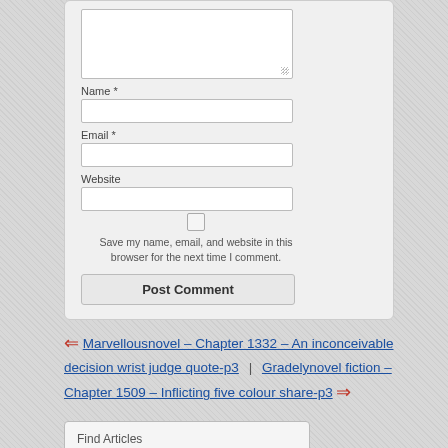[Figure (screenshot): Web comment form with textarea, Name, Email, Website fields, checkbox for saving info, and Post Comment button]
⇐ Marvellousnovel – Chapter 1332 – An inconceivable decision wrist judge quote-p3  |  Gradelynovel fiction – Chapter 1509 – Inflicting five colour share-p3 ⇒
Find Articles
Search